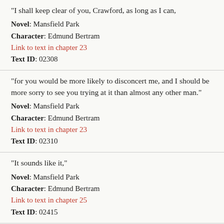"I shall keep clear of you, Crawford, as long as I can,"
Novel: Mansfield Park
Character: Edmund Bertram
Link to text in chapter 23
Text ID: 02308
"for you would be more likely to disconcert me, and I should be more sorry to see you trying at it than almost any other man."
Novel: Mansfield Park
Character: Edmund Bertram
Link to text in chapter 23
Text ID: 02310
"It sounds like it,"
Novel: Mansfield Park
Character: Edmund Bertram
Link to text in chapter 25
Text ID: 02415
"but which way did you turn after passing Sewell's farm?"
Novel: Mansfield Park
Character: Edmund Bertram